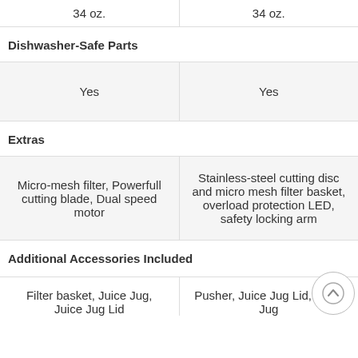| Col1 | Col2 |
| --- | --- |
| 34 oz. | 34 oz. |
| Dishwasher-Safe Parts |  |
| Yes | Yes |
| Extras |  |
| Micro-mesh filter, Powerfull cutting blade, Dual speed motor | Stainless-steel cutting disc and micro mesh filter basket, overload protection LED, safety locking arm |
| Additional Accessories Included |  |
| Filter basket, Juice Jug, Juice Jug Lid | Pusher, Juice Jug Lid, Juice Jug |